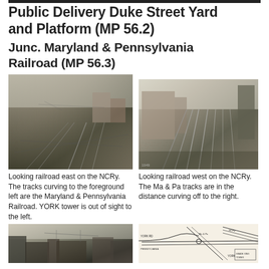Public Delivery Duke Street Yard and Platform (MP 56.2)
Junc. Maryland & Pennsylvania Railroad (MP 56.3)
[Figure (photo): Black and white historical photo looking railroad east on the NCRy, showing tracks curving to the foreground left (Maryland & Pennsylvania Railroad), with YORK tower out of sight to the left.]
Looking railroad east on the NCRy. The tracks curving to the foreground left are the Maryland & Pennsylvania Railroad. YORK tower is out of sight to the left.
[Figure (photo): Black and white historical photo looking railroad west on the NCRy, showing the Ma & Pa tracks in the distance curving off to the right.]
Looking railroad west on the NCRy. The Ma & Pa tracks are in the distance curving off to the right.
[Figure (photo): Black and white historical photo of railroad yard area with buildings visible.]
[Figure (map): Track diagram/map showing railroad junction layout with labeled tracks and features.]